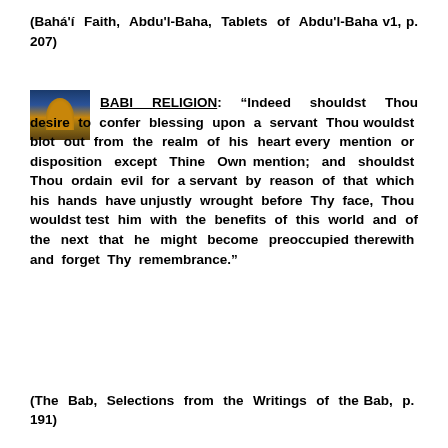(Bahá'í Faith, Abdu'l-Baha, Tablets of Abdu'l-Baha v1, p. 207)
[Figure (photo): Small thumbnail photo of a domed building (capitol or temple) with glowing light, dark background]
BABI RELIGION: “Indeed shouldst Thou desire to confer blessing upon a servant Thou wouldst blot out from the realm of his heart every mention or disposition except Thine Own mention; and shouldst Thou ordain evil for a servant by reason of that which his hands have unjustly wrought before Thy face, Thou wouldst test him with the benefits of this world and of the next that he might become preoccupied therewith and forget Thy remembrance.”
(The Bab, Selections from the Writings of the Bab, p. 191)